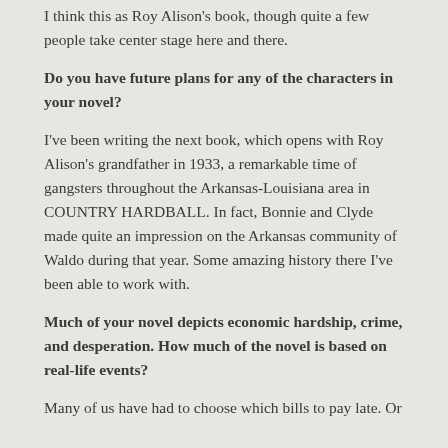I think this as Roy Alison's book, though quite a few people take center stage here and there.
Do you have future plans for any of the characters in your novel?
I've been writing the next book, which opens with Roy Alison's grandfather in 1933, a remarkable time of gangsters throughout the Arkansas-Louisiana area in COUNTRY HARDBALL. In fact, Bonnie and Clyde made quite an impression on the Arkansas community of Waldo during that year. Some amazing history there I've been able to work with.
Much of your novel depicts economic hardship, crime, and desperation. How much of the novel is based on real-life events?
Many of us have had to choose which bills to pay late. Or